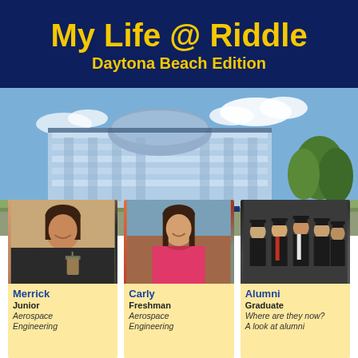My Life @ Riddle
Daytona Beach Edition
[Figure (photo): Aerial/ground view of Embry-Riddle Aeronautical University campus building in Daytona Beach, a modern glass building under blue sky with trees]
[Figure (photo): Portrait photo of Merrick, a young woman smiling, holding a drink]
Merrick
Junior
Aerospace Engineering
[Figure (photo): Portrait photo of Carly, a young woman smiling, wearing pink top]
Carly
Freshman
Aerospace Engineering
[Figure (photo): Group photo of alumni in graduation gowns and caps]
Alumni
Graduate
Where are they now?
A look at alumni